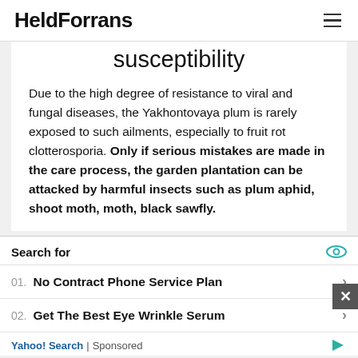HeldForrans
susceptibility
Due to the high degree of resistance to viral and fungal diseases, the Yakhontovaya plum is rarely exposed to such ailments, especially to fruit rot clotterosporia. Only if serious mistakes are made in the care process, the garden plantation can be attacked by harmful insects such as plum aphid, shoot moth, moth, black sawfly.
Search for
01. No Contract Phone Service Plan
02. Get The Best Eye Wrinkle Serum
Yahoo! Search | Sponsored